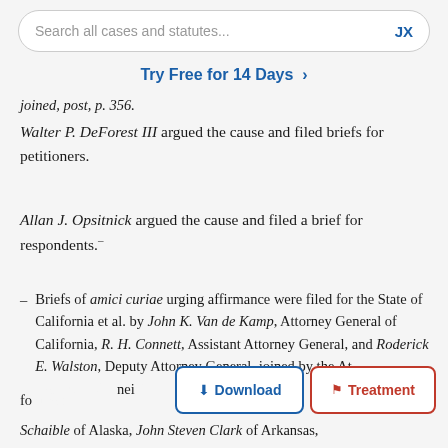Search all cases and statutes... JX
Try Free for 14 Days >
joined, post, p. 356.
Walter P. DeForest III argued the cause and filed briefs for petitioners.
Allan J. Opsitnick argued the cause and filed a brief for respondents.
Briefs of amici curiae urging affirmance were filed for the State of California et al. by John K. Van de Kamp, Attorney General of California, R. H. Connett, Assistant Attorney General, and Roderick E. Walston, Deputy Attorney General, joined by the At[torneys General of their respective states] fo[r] A[...]
Schaible of Alaska, John Steven Clark of Arkansas,